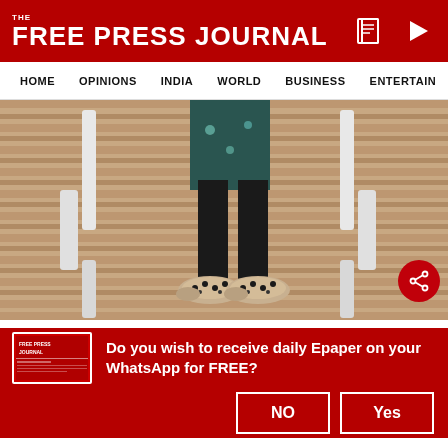THE FREE PRESS JOURNAL
HOME  OPINIONS  INDIA  WORLD  BUSINESS  ENTERTAIN
[Figure (photo): Close-up photo of a person's lower body showing legs and feet wearing embroidered jutis/ethnic shoes, with striped carpet in background and white chairs visible]
In the kind of cinema we saw, we are the storytellers and we think from the heart. We rarely think of an actor before we finish writing because the script is
Do you wish to receive daily Epaper on your WhatsApp for FREE?